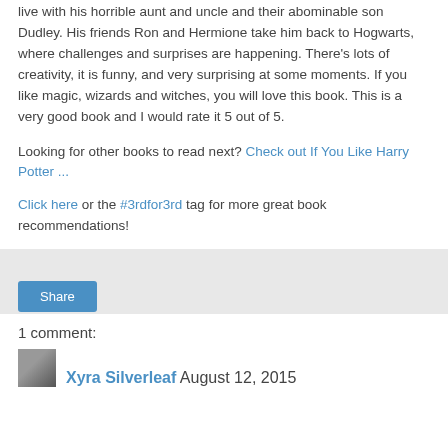live with his horrible aunt and uncle and their abominable son Dudley. His friends Ron and Hermione take him back to Hogwarts, where challenges and surprises are happening. There's lots of creativity, it is funny, and very surprising at some moments. If you like magic, wizards and witches, you will love this book. This is a very good book and I would rate it 5 out of 5.
Looking for other books to read next? Check out If You Like Harry Potter ...
Click here or the #3rdfor3rd tag for more great book recommendations!
Share
1 comment:
Xyra Silverleaf, August 12, 2015